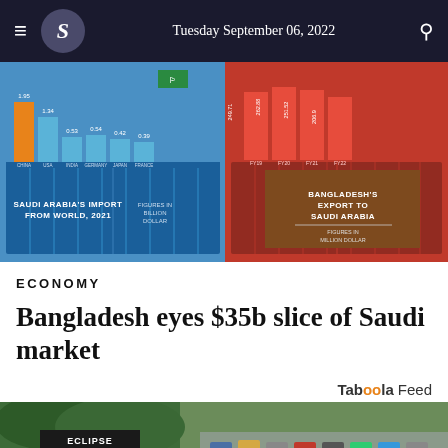Tuesday September 06, 2022
[Figure (infographic): Infographic showing Saudi Arabia's Import from World 2021 (figures in billion dollar) on the left side with blue shipping containers, and Bangladesh's Export to Saudi Arabia (figures in million dollar) on the right side with red shipping containers. Bar values visible: 1.95, 1.34, 0.53, 0.54, 0.42, 0.39 on blue side; 249.71, 262.88, 251.52, 206.9 on red side.]
ECONOMY
Bangladesh eyes $35b slice of Saudi market
Taboola Feed
[Figure (photo): Outdoor photo showing a parking lot with many cars and green vegetation/trees on the left side. A car dealership or similar establishment visible.]